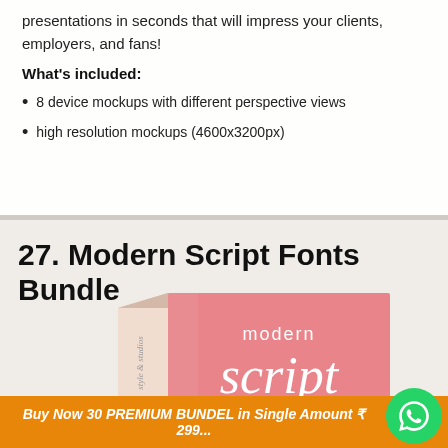presentations in seconds that will impress your clients, employers, and fans!
What's included:
8 device mockups with different perspective views
high resolution mockups (4600x3200px)
27. Modern Script Fonts Bundle
[Figure (photo): Product box mockup for Modern Script Fonts Bundle — pink/rose colored box with white script text reading 'modern script']
Buy Now 30 PREMIUM BUNDEL in Single Amount ₹ 299...